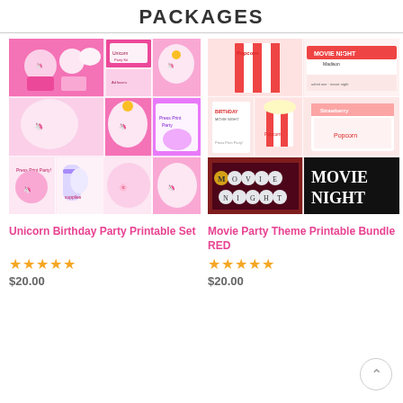PACKAGES
[Figure (photo): Unicorn Birthday Party printable set collage showing cupcake toppers, favor tags, banners, cake topper, water bottle labels, and party supplies in pink and rainbow unicorn theme]
[Figure (photo): Movie Party Theme Printable Bundle RED collage showing popcorn boxes, movie night ticket invitations, water bottle labels, food tent labels, party circles, and movie night banner in red and white striped theme]
Unicorn Birthday Party Printable Set
Movie Party Theme Printable Bundle RED
★★★★★ $20.00
★★★★★ $20.00